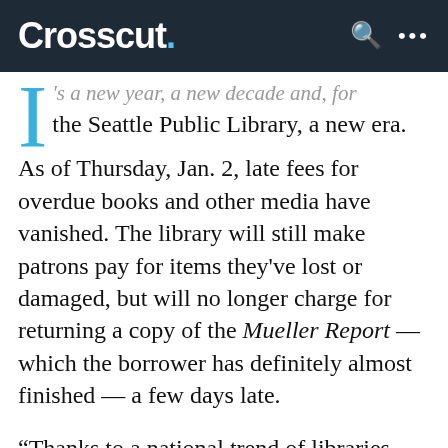Crosscut.
t's a new year, a new decade and, for the Seattle Public Library, a new era. As of Thursday, Jan. 2, late fees for overdue books and other media have vanished. The library will still make patrons pay for items they've lost or damaged, but will no longer charge for returning a copy of the Mueller Report — which the borrower has definitely almost finished — a few days late.
“Thanks to a national trend of libraries abolishing fines, we now know that fines have little impact on the timely return of